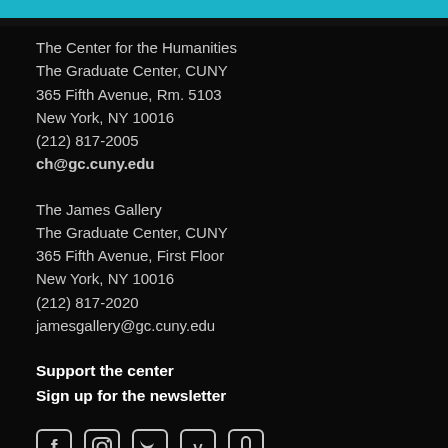The Center for the Humanities
The Graduate Center, CUNY
365 Fifth Avenue, Rm. 5103
New York, NY 10016
(212) 817-2005
ch@gc.cuny.edu
The James Gallery
The Graduate Center, CUNY
365 Fifth Avenue, First Floor
New York, NY 10016
(212) 817-2020
jamesgallery@gc.cuny.edu
Support the center
Sign up for the newsletter
[Figure (other): Row of social media icons: Facebook, Instagram, Twitter, Vimeo, podcast/audio icon]